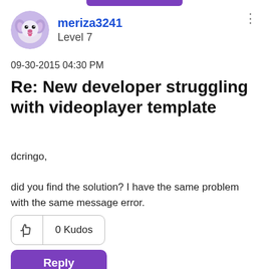[Figure (illustration): Purple bar at top of page (partial, cropped at top edge)]
[Figure (photo): Circular avatar image of a dog (appears to be a white/grey fluffy dog), with purple-tinted overlay]
meriza3241
Level 7
09-30-2015 04:30 PM
Re: New developer struggling with videoplayer template
dcringo,

did you find the solution? I have the same problem with the same message error.

thks
0 Kudos
Reply